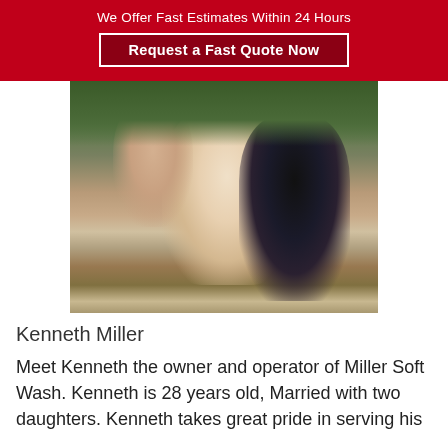We Offer Fast Estimates Within 24 Hours
Request a Fast Quote Now
[Figure (photo): Family portrait of Kenneth Miller with his wife and two young daughters outdoors in a field with trees in background. Man wearing glasses and light shirt holding a toddler, woman in black dress and tan hat holding another young child.]
Kenneth Miller
Meet Kenneth the owner and operator of Miller Soft Wash. Kenneth is 28 years old, Married with two daughters. Kenneth takes great pride in serving his